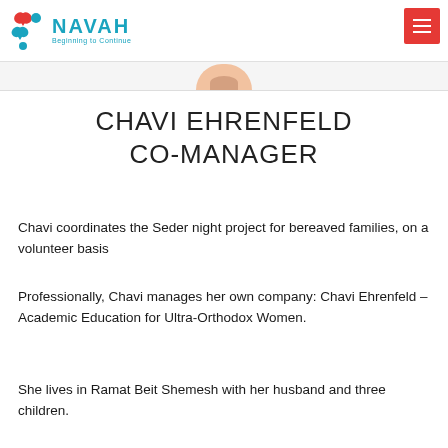NAVAH — Beginning to Continue
[Figure (photo): Partial top of person's head/face visible at bottom of photo strip]
CHAVI EHRENFELD
CO-MANAGER
Chavi coordinates the Seder night project for bereaved families, on a volunteer basis
Professionally, Chavi manages her own company: Chavi Ehrenfeld – Academic Education for Ultra-Orthodox Women.
She lives in Ramat Beit Shemesh with her husband and three children.